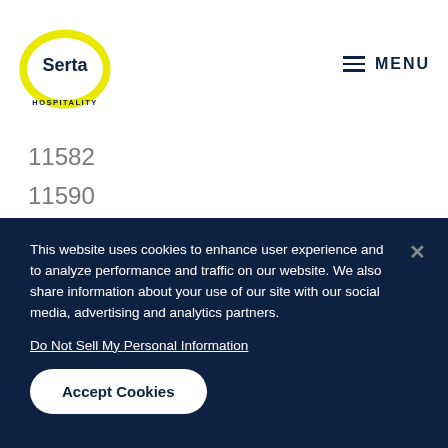Serta Hospitality — MENU
11582
11590
11592
11594
11595
11596
This website uses cookies to enhance user experience and to analyze performance and traffic on our website. We also share information about your use of our site with our social media, advertising and analytics partners.
Do Not Sell My Personal Information
Accept Cookies